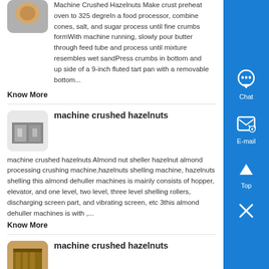Machine Crushed Hazelnuts Make crust preheat oven to 325 degreIn a food processor, combine cones, salt, and sugar process until fine crumbs formWith machine running, slowly pour butter through feed tube and process until mixture resembles wet sandPress crumbs in bottom and up side of a 9-inch fluted tart pan with a removable bottom...
Know More
machine crushed hazelnuts
machine crushed hazelnuts Almond nut sheller hazelnut almond processing crushing machine,hazelnuts shelling machine, hazelnuts shelling this almond dehuller machines is mainly consists of hopper, elevator, and one level, two level, three level shelling rollers, discharging screen part, and vibrating screen, etc 3this almond dehuller machines is with ,...
Know More
machine crushed hazelnuts
machine crushed hazelnuts Chongming 6TPH Slag Grinding...